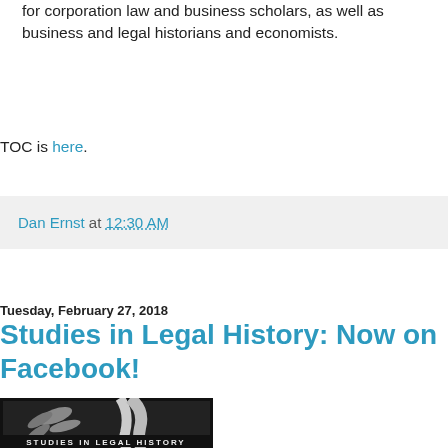for corporation law and business scholars, as well as business and legal historians and economists.
TOC is here.
Dan Ernst at 12:30 AM
Tuesday, February 27, 2018
Studies in Legal History: Now on Facebook!
[Figure (photo): Black and white book cover image for Studies in Legal History series, showing a tree branch with leaves against a dark background, with text 'STUDIES IN LEGAL HISTORY' at the bottom.]